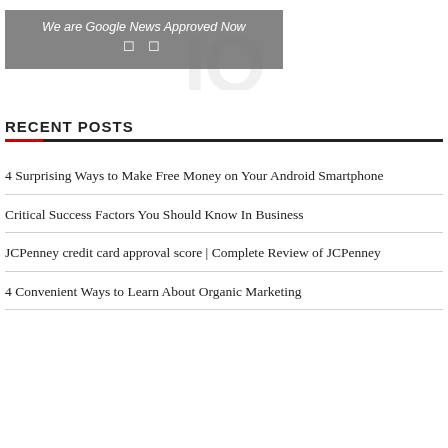[Figure (other): Faded watermark/logo text in background at top of page]
We are Google News Approved Now 🔲 🔲
RECENT POSTS
4 Surprising Ways to Make Free Money on Your Android Smartphone
Critical Success Factors You Should Know In Business
JCPenney credit card approval score | Complete Review of JCPenney
4 Convenient Ways to Learn About Organic Marketing